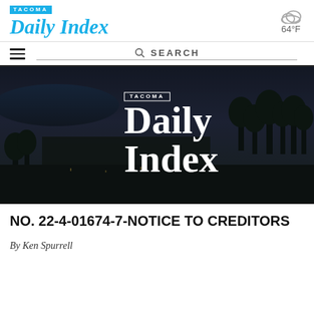TACOMA Daily Index
[Figure (logo): Tacoma Daily Index newspaper logo with cloud weather icon showing 64°F]
[Figure (photo): Aerial photograph of Tacoma cityscape at dusk/night with the Tacoma Daily Index logo overlaid in white text]
NO. 22-4-01674-7-NOTICE TO CREDITORS
By Ken Spurrell